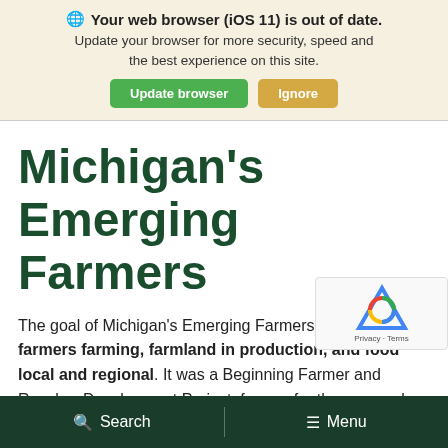🌐 Your web browser (iOS 11) is out of date. Update your browser for more security, speed and the best experience on this site. [Update browser] [Ignore]
Michigan's Emerging Farmers
The goal of Michigan's Emerging Farmers was to keep farmers farming, farmland in production, and food local and regional. It was a Beginning Farmer and Rancher Development Project, funded for three years by the United States Department of Agriculture. Although the grant has ended, the work begun during the grant continues at the
Search   Menu